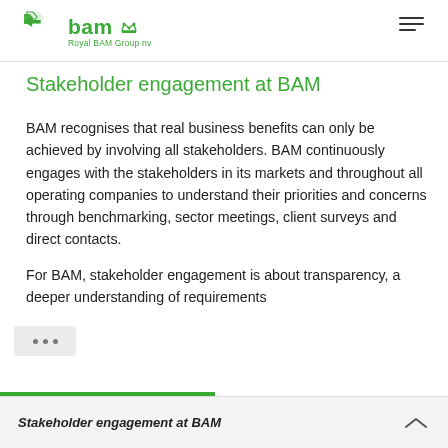Royal BAM Group nv
Stakeholder engagement at BAM
BAM recognises that real business benefits can only be achieved by involving all stakeholders. BAM continuously engages with the stakeholders in its markets and throughout all operating companies to understand their priorities and concerns through benchmarking, sector meetings, client surveys and direct contacts.
For BAM, stakeholder engagement is about transparency, a deeper understanding of requirements
Stakeholder engagement at BAM